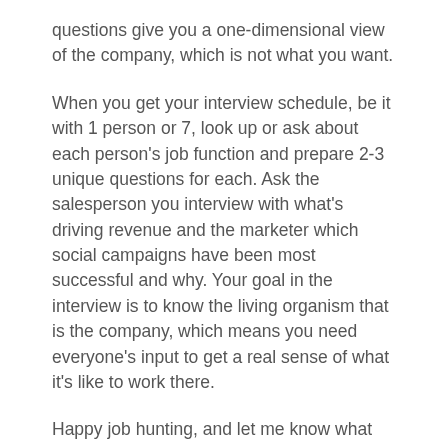questions give you a one-dimensional view of the company, which is not what you want.
When you get your interview schedule, be it with 1 person or 7, look up or ask about each person's job function and prepare 2-3 unique questions for each. Ask the salesperson you interview with what's driving revenue and the marketer which social campaigns have been most successful and why. Your goal in the interview is to know the living organism that is the company, which means you need everyone's input to get a real sense of what it's like to work there.
Happy job hunting, and let me know what makes your interviews particularly challenging or successful!